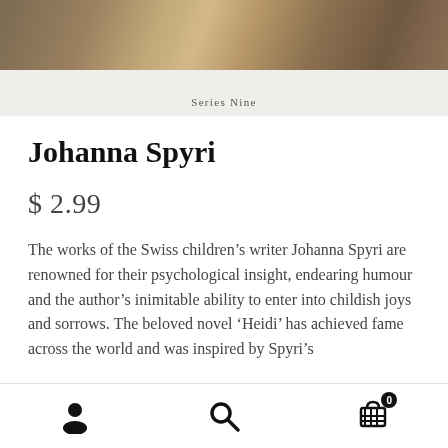[Figure (photo): Top portion of a book cover image showing an illustrated or painted scene, partially cropped]
Series Nine
Johanna Spyri
$ 2.99
The works of the Swiss children’s writer Johanna Spyri are renowned for their psychological insight, endearing humour and the author’s inimitable ability to enter into childish joys and sorrows. The beloved novel ‘Heidi’ has achieved fame across the world and was inspired by Spyri’s